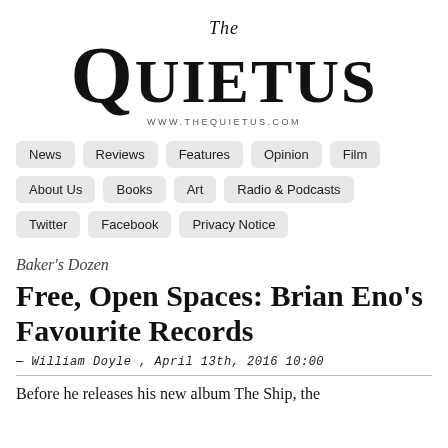[Figure (logo): The Quietus logo with 'The' in italic script above large serif 'QUIETUS' text, with www.thequietus.com below]
News
Reviews
Features
Opinion
Film
About Us
Books
Art
Radio & Podcasts
Twitter
Facebook
Privacy Notice
Baker's Dozen
Free, Open Spaces: Brian Eno's Favourite Records
— William Doyle , April 13th, 2016 10:00
Before he releases his new album The Ship, the